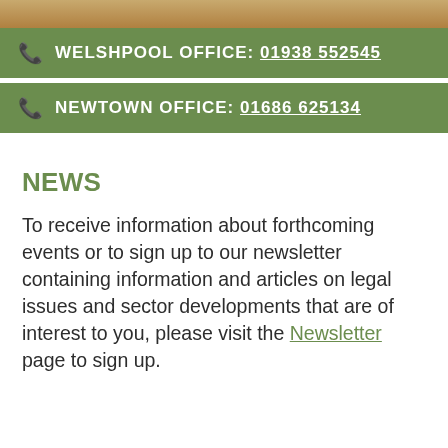[Figure (photo): Partial image of a building or scene at the top of the page, cropped]
WELSHPOOL OFFICE: 01938 552545
NEWTOWN OFFICE: 01686 625134
NEWS
To receive information about forthcoming events or to sign up to our newsletter containing information and articles on legal issues and sector developments that are of interest to you, please visit the Newsletter page to sign up.